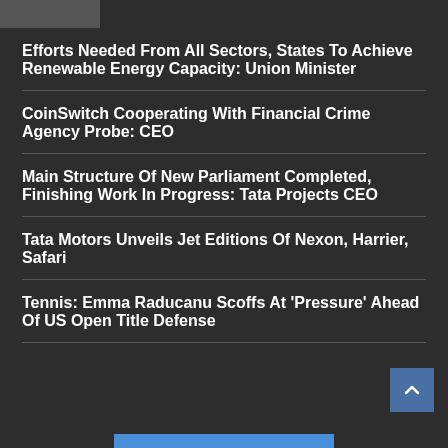[Figure (photo): Partial image strip at top left corner]
Efforts Needed From All Sectors, States To Achieve Renewable Energy Capacity: Union Minister
CoinSwitch Cooperating With Financial Crime Agency Probe: CEO
Main Structure Of New Parliament Completed, Finishing Work In Progress: Tata Projects CEO
Tata Motors Unveils Jet Editions Of Nexon, Harrier, Safari
Tennis: Emma Raducanu Scoffs At 'Pressure' Ahead Of US Open Title Defense